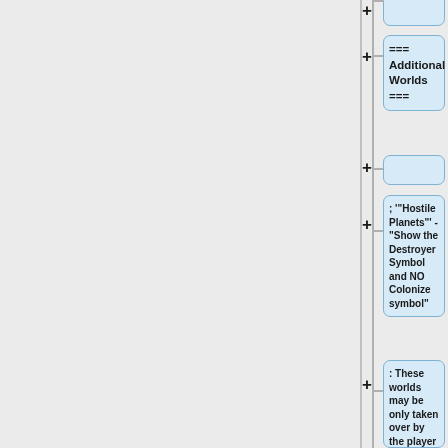[Figure (flowchart): A wiki editor tree/flowchart showing expandable nodes on the right side of the page. Nodes include: a top partial empty node, '=== Additional Worlds ===', an empty node, a node with '; "Hostile Planets" - "Show the Destroyer Symbol and NO Colonize symbol"', a node with ': These worlds may be only taken over by the player using a Destroyer and may not be colonized.', and a bottom partial empty node. Each node is preceded by a '+' expand icon. The left portion of the page is a gray panel.]